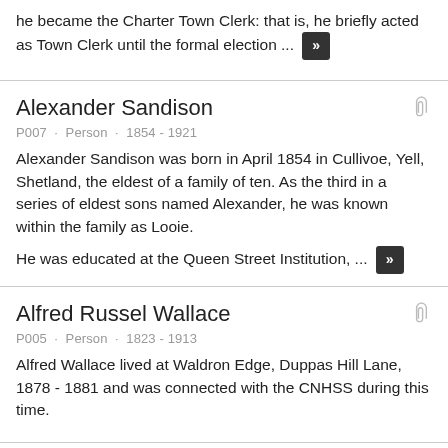he became the Charter Town Clerk: that is, he briefly acted as Town Clerk until the formal election ...
Alexander Sandison
P007 · Person · 1854 - 1921
Alexander Sandison was born in April 1854 in Cullivoe, Yell, Shetland, the eldest of a family of ten. As the third in a series of eldest sons named Alexander, he was known within the family as Looie.
He was educated at the Queen Street Institution, ...
Alfred Russel Wallace
P005 · Person · 1823 - 1913
Alfred Wallace lived at Waldron Edge, Duppas Hill Lane, 1878 - 1881 and was connected with the CNHSS during this time.
Anderson, John Corbet (17 January 182...
Person · (17 January 1827 - 3 January 1907)